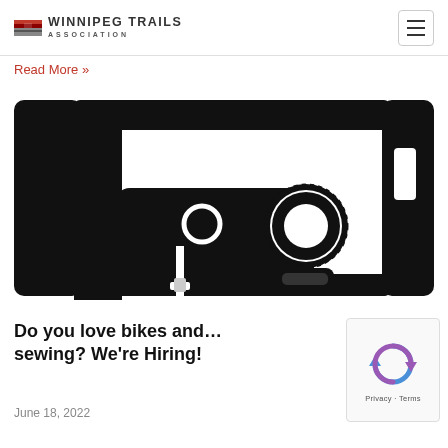Winnipeg Trails Association
Read More »
[Figure (illustration): Black silhouette illustration of a sewing machine viewed from the front, with circular bobbin detail, presser foot, and needle visible against a white background.]
Do you love bikes and… sewing? We're Hiring!
June 18, 2022